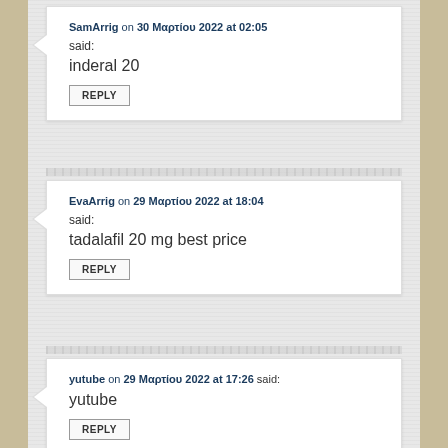SamArrig on 30 Μαρτίου 2022 at 02:05 said: inderal 20
EvaArrig on 29 Μαρτίου 2022 at 18:04 said: tadalafil 20 mg best price
yutube on 29 Μαρτίου 2022 at 17:26 said: yutube